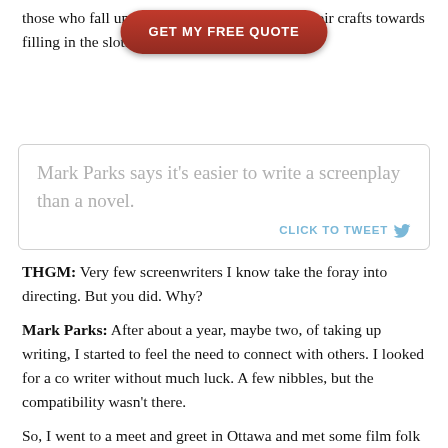those who fall under these umbrellas will ply their crafts towards filling in the slots that were left empty for them.
[Figure (other): Red call-to-action button with text 'GET MY FREE QUOTE']
Mark Parks says it’s easier to write a screenplay than a novel.
CLICK TO TWEET
THGM: Very few screenwriters I know take the foray into directing. But you did. Why?
Mark Parks: After about a year, maybe two, of taking up writing, I started to feel the need to connect with others. I looked for a co writer without much luck. A few nibbles, but the compatibility wasn’t there.
So, I went to a meet and greet in Ottawa and met some film folk who I hoped would shoot one of my short films.
I met Vincent Valentine and he had a suggestion for me